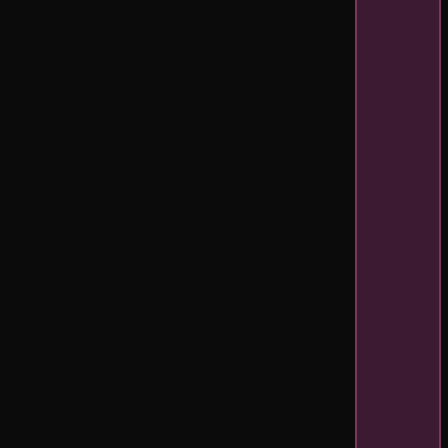it's blossom by themselves (the numbers are really fascinating, google if you're interested in war stuff), so don't start telling me your Blitz is more of a historical event. Whatever